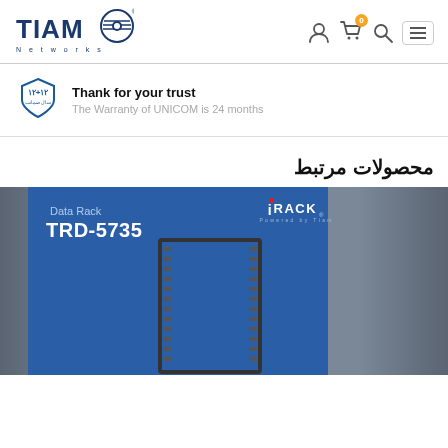[Figure (logo): TIAMO Networks logo with circular emblem]
[Figure (infographic): Navigation icons: user, cart with 0 badge, search, hamburger menu]
[Figure (logo): Shield badge with Persian numerals 12+12 warranty symbol]
Thank for your trust
The Warranty of UNICOM is 24 months
محصولات مرتبط
[Figure (photo): Product image for Data Rack TRD-5735 by iRACK brand, shown on blue background with dark grey rack frame visible]